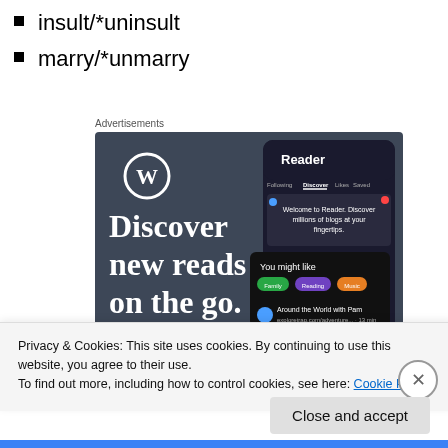insult/*uninsult
marry/*unmarry
Advertisements
[Figure (screenshot): WordPress advertisement showing 'Discover new reads on the go.' with a Reader app interface mockup on the right side]
Privacy & Cookies: This site uses cookies. By continuing to use this website, you agree to their use.
To find out more, including how to control cookies, see here: Cookie Policy
Close and accept